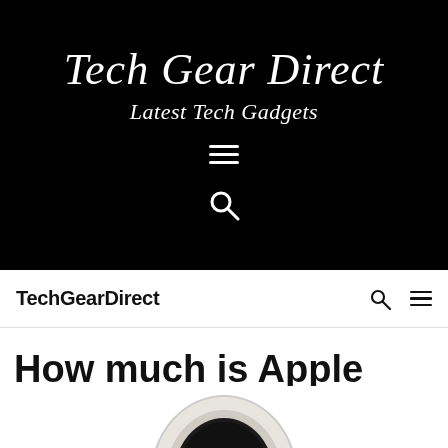Tech Gear Direct
Latest Tech Gadgets
TechGearDirect
How much is Apple Watch SE in us
[Figure (photo): Partial image of an Apple Watch SE in silver/white color, cropped at the bottom of the page]